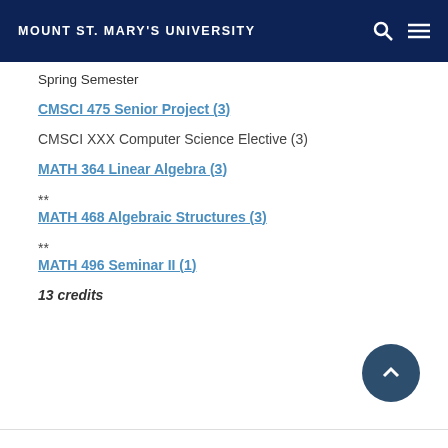MOUNT ST. MARY'S UNIVERSITY
Spring Semester
CMSCI 475 Senior Project (3)
CMSCI XXX Computer Science Elective (3)
MATH 364 Linear Algebra (3) **
MATH 468 Algebraic Structures (3) **
MATH 496 Seminar II (1)
13 credits